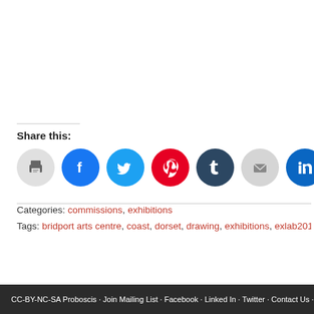Share this:
[Figure (other): Social sharing icons row: print (grey), Facebook (blue), Twitter (cyan), Pinterest (red), Tumblr (dark blue), Email (grey), LinkedIn (blue), Telegram (blue)]
Categories: commissions, exhibitions
Tags: bridport arts centre, coast, dorset, drawing, exhibitions, exlab2012, hive beach, se...
CC-BY-NC-SA Proboscis · Join Mailing List · Facebook · Linked In · Twitter · Contact Us · Log